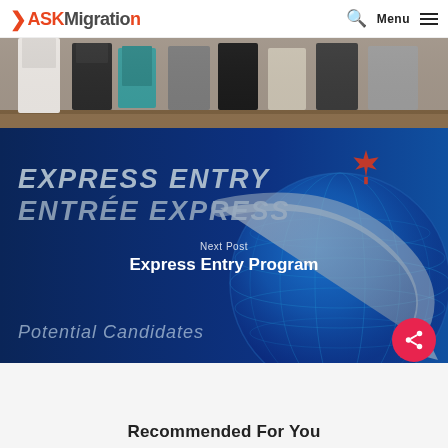ASKMigration — Menu
[Figure (photo): Group of professionals standing, partial view showing torsos and legs, wearing business attire]
[Figure (infographic): Express Entry / Entrée Express blue banner with Canadian maple leaf, globe graphic and curved arrow. Overlaid text says 'Next Post' and 'Express Entry Program'. Bottom text: 'Potential Candidates']
Recommended For You